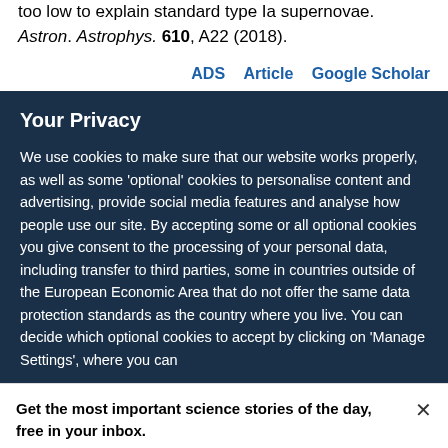too low to explain standard type Ia supernovae. Astron. Astrophys. 610, A22 (2018).
ADS   Article   Google Scholar
Your Privacy
We use cookies to make sure that our website works properly, as well as some 'optional' cookies to personalise content and advertising, provide social media features and analyse how people use our site. By accepting some or all optional cookies you give consent to the processing of your personal data, including transfer to third parties, some in countries outside of the European Economic Area that do not offer the same data protection standards as the country where you live. You can decide which optional cookies to accept by clicking on 'Manage Settings', where you can
Get the most important science stories of the day, free in your inbox.
Sign up for Nature Briefing